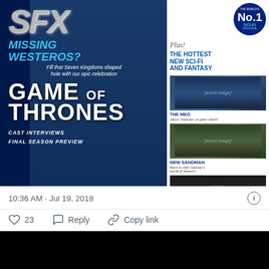[Figure (photo): Screenshot of a tweet showing the cover of SFX magazine featuring Game of Thrones, with a woman in a blue dress (Daenerys Targaryen character), text 'MISSING WESTEROS?', 'GAME OF THRONES', 'CAST INTERVIEWS', 'FINAL SEASON PREVIEW'. Right sidebar shows No.1 Sci-Fi badge, 'THE HOTTEST NEW SCI-FI AND FANTASY', 'THE MEG Jason Statham vs giant shark!', 'NEW SANDMAN Back to Neil Gaiman's world of dreams']
10:36 AM · Jul 19, 2018
23  Reply  Copy link